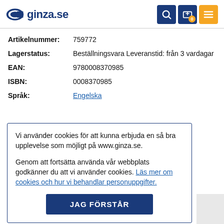ginza.se
| Label | Value |
| --- | --- |
| Artikelnummer: | 759772 |
| Lagerstatus: | Beställningsvara Leveranstid: från 3 vardagar |
| EAN: | 9780008370985 |
| ISBN: | 0008370985 |
| Språk: | Engelska |
Vi använder cookies för att kunna erbjuda en så bra upplevelse som möjligt på www.ginza.se.
Genom att fortsätta använda vår webbplats godkänner du att vi använder cookies. Läs mer om cookies och hur vi behandlar personuppgifter.
JAG FÖRSTÅR